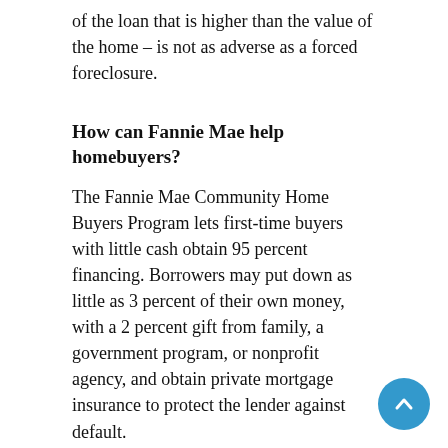of the loan that is higher than the value of the home – is not as adverse as a forced foreclosure.
How can Fannie Mae help homebuyers?
The Fannie Mae Community Home Buyers Program lets first-time buyers with little cash obtain 95 percent financing. Borrowers may put down as little as 3 percent of their own money, with a 2 percent gift from family, a government program, or nonprofit agency, and obtain private mortgage insurance to protect the lender against default.
The Fannie Mae program is administered through participating lenders, and income limits vary by state. But the income restriction is waived when borrowers participate in the Fannie Neighbors program. Fannie Neighbors also has lower income requirements for borrowers who want to buy in designated central cities.